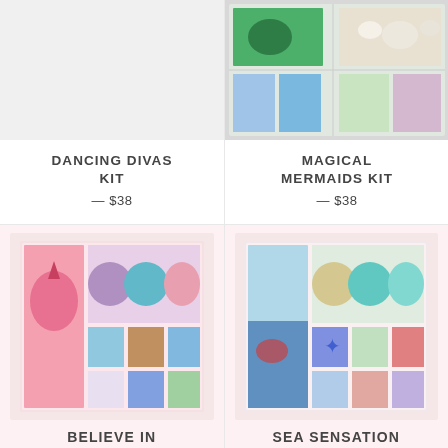[Figure (photo): Gray/white placeholder image for Dancing Divas Kit product]
DANCING DIVAS KIT
— $38
[Figure (photo): Photo of Magical Mermaids Kit showing a compartmentalized box with mermaid figures, shells, and glitter]
MAGICAL MERMAIDS KIT
— $38
[Figure (photo): Photo of Believe In kit showing a compartmentalized box with unicorn-themed items, colorful clay tubs, and rainbows]
BELIEVE IN
[Figure (photo): Photo of Sea Sensation kit showing a compartmentalized box with ocean-themed items, teal clay tubs, and sea creatures]
SEA SENSATION